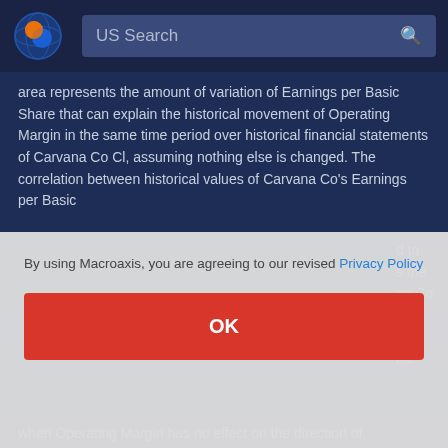US Search
area represents the amount of variation of Earnings per Basic Share that can explain the historical movement of Operating Margin in the same time period over historical financial statements of Carvana Co Cl, assuming nothing else is changed. The correlation between historical values of Carvana Co's Earnings per Basic
By using Macroaxis, you are agreeing to our revised Privacy Policy
OK
when Operating Margin has no effect on the direction of